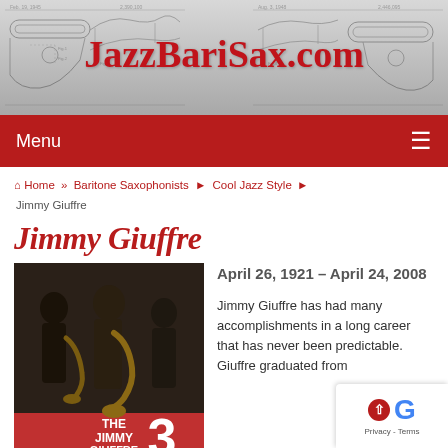JazzBariSax.com
Menu
Home » Baritone Saxophonists ▶ Cool Jazz Style ▶ Jimmy Giuffre
Jimmy Giuffre
[Figure (photo): Album cover of 'The Jimmy Giuffre 3' on red background with jazz musicians holding saxophones]
April 26, 1921 – April 24, 2008

Jimmy Giuffre has had many accomplishments in a long career that has never been predictable. Giuffre graduated from